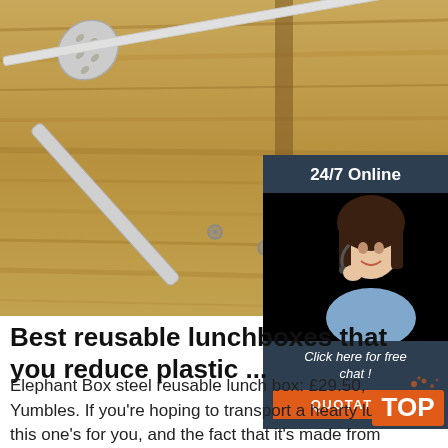[Figure (photo): Kitchen utensils (slotted spoon and spatula) on a wooden surface, viewed from above]
[Figure (infographic): Advertisement overlay: '24/7 Online' with a woman wearing a headset, 'Click here for free chat!' text, and an orange QUOTATION button]
Best reusable lunchboxes that you reduce plastic ...
Elephant Box steel reusable lunch box: £29.50, Yumbles. If you're hoping to transport a hearty lunch, this one's for you, and the fact that it's made from sustainable, food grade stainless ...